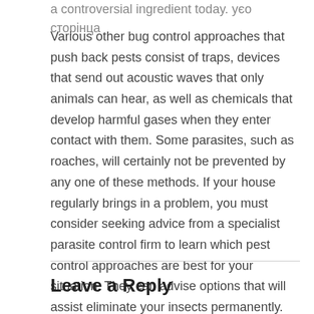a controversial ingredient today. уєо сторінца
Various other bug control approaches that push back pests consist of traps, devices that send out acoustic waves that only animals can hear, as well as chemicals that develop harmful gases when they enter contact with them. Some parasites, such as roaches, will certainly not be prevented by any one of these methods. If your house regularly brings in a problem, you must consider seeking advice from a specialist parasite control firm to learn which pest control approaches are best for your situation. They can advise options that will assist eliminate your insects permanently.
Leave a Reply